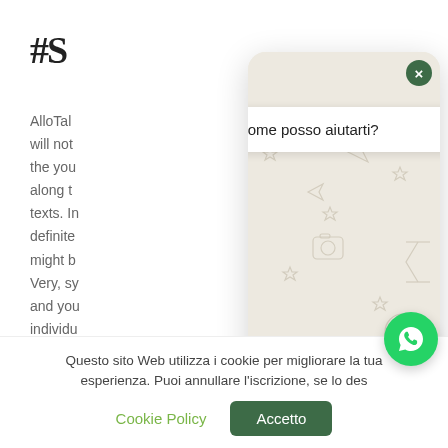#S
AlloTal will not the you along t texts. In definite might b Very, sy and yo individu
[Figure (screenshot): WhatsApp chat popup overlay with decorative emoji pattern background, greeting bubble saying 'Ciao, come posso aiutarti?', a text input field, and a green send button. A dark green close (×) button is in the top right corner.]
Questo sito Web utilizza i cookie per migliorare la tua esperienza. Puoi annullare l'iscrizione, se lo des
Cookie Policy
Accetto